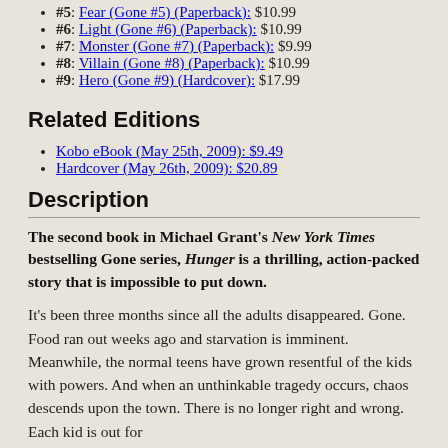#5: Fear (Gone #5) (Paperback): $10.99
#6: Light (Gone #6) (Paperback): $10.99
#7: Monster (Gone #7) (Paperback): $9.99
#8: Villain (Gone #8) (Paperback): $10.99
#9: Hero (Gone #9) (Hardcover): $17.99
Related Editions
Kobo eBook (May 25th, 2009): $9.49
Hardcover (May 26th, 2009): $20.89
Description
The second book in Michael Grant's New York Times bestselling Gone series, Hunger is a thrilling, action-packed story that is impossible to put down.
It's been three months since all the adults disappeared. Gone. Food ran out weeks ago and starvation is imminent. Meanwhile, the normal teens have grown resentful of the kids with powers. And when an unthinkable tragedy occurs, chaos descends upon the town. There is no longer right and wrong. Each kid is out for